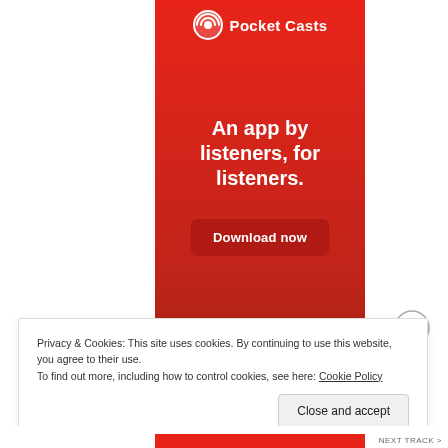[Figure (screenshot): Pocket Casts advertisement banner with red background. Shows Pocket Casts logo (icon + text) at top, tagline 'An app by listeners, for listeners.' in white bold text, and a dark red 'Download now' button.]
Privacy & Cookies: This site uses cookies. By continuing to use this website, you agree to their use.
To find out more, including how to control cookies, see here: Cookie Policy
Close and accept